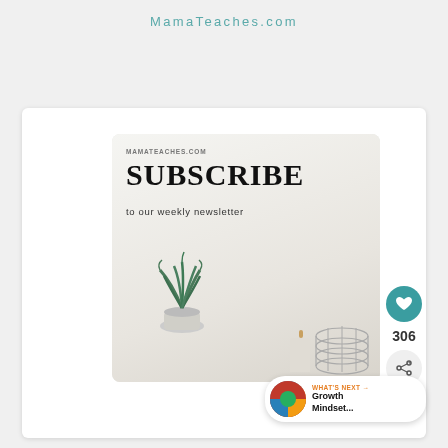MamaTeaches.com
[Figure (screenshot): A website screenshot showing a card with a subscribe newsletter image from MamaTeaches.com. The image features the text 'MAMATEACHES.COM', 'SUBSCRIBE', 'to our weekly newsletter', and a styled photo of a succulent plant, candle, and wire basket. UI overlays include a heart button with 306 count, a share button, and a 'WHAT'S NEXT → Growth Mindset...' card.]